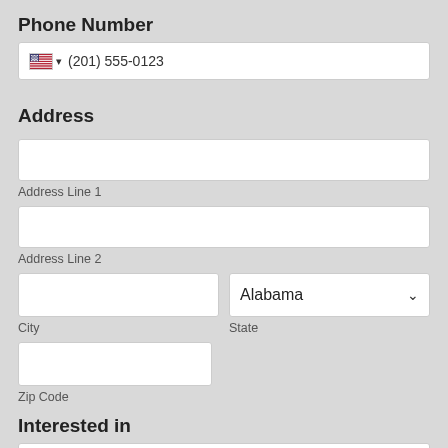Phone Number
(201) 555-0123
Address
Address Line 1
Address Line 2
City
State
Alabama
Zip Code
Interested in
Animal Show